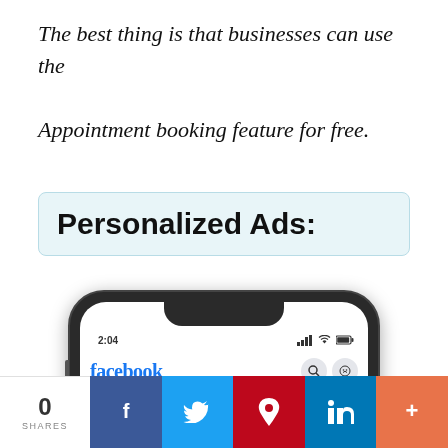The best thing is that businesses can use the Appointment booking feature for free.
Personalized Ads:
[Figure (screenshot): A smartphone displaying a Facebook mobile app feed showing a sponsored ad for 'Shop for Seasonal Fruits and Veggies' from jaspersmarket.com with a Shop button, reactions from Eric Liang and 120 others, 23 Comments, Like/Comment/Share actions, and a Facebook article teaser 'What happens when you like or love'.]
0 SHARES